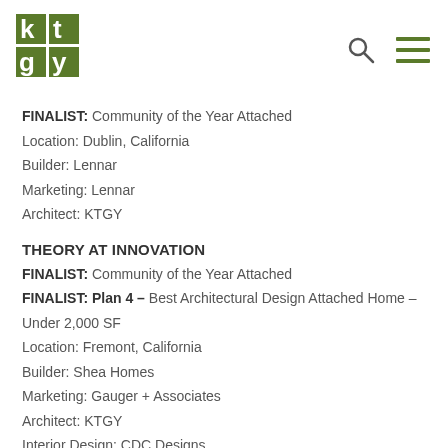[Figure (logo): KTGY architecture + planning green logo with search and menu icons]
FINALIST: Community of the Year Attached
Location: Dublin, California
Builder: Lennar
Marketing: Lennar
Architect: KTGY
THEORY AT INNOVATION
FINALIST: Community of the Year Attached
FINALIST: Plan 4 – Best Architectural Design Attached Home – Under 2,000 SF
Location: Fremont, California
Builder: Shea Homes
Marketing: Gauger + Associates
Architect: KTGY
Interior Design: CDC Designs